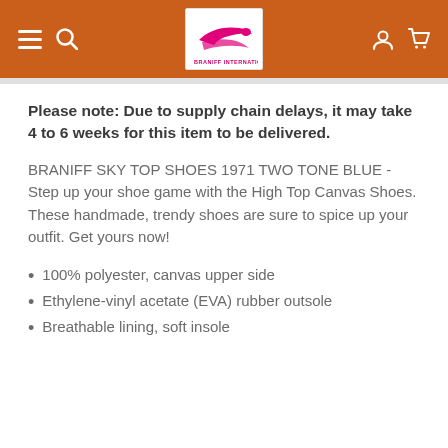[Figure (logo): Braniff International logo with stylized bird/wing in pink/magenta on white background]
Please note:  Due to supply chain delays, it may take 4 to 6 weeks for this item to be delivered.
BRANIFF SKY TOP SHOES 1971 TWO TONE BLUE - Step up your shoe game with the High Top Canvas Shoes. These handmade, trendy shoes are sure to spice up your outfit. Get yours now!
100% polyester, canvas upper side
Ethylene-vinyl acetate (EVA) rubber outsole
Breathable lining, soft insole